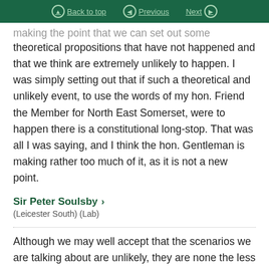Back to top | Previous | Next
making the point that we can set out some theoretical propositions that have not happened and that we think are extremely unlikely to happen. I was simply setting out that if such a theoretical and unlikely event, to use the words of my hon. Friend the Member for North East Somerset, were to happen there is a constitutional long-stop. That was all I was saying, and I think the hon. Gentleman is making rather too much of it, as it is not a new point.
Sir Peter Soulsby > (Leicester South) (Lab)
Although we may well accept that the scenarios we are talking about are unlikely, they are none the less